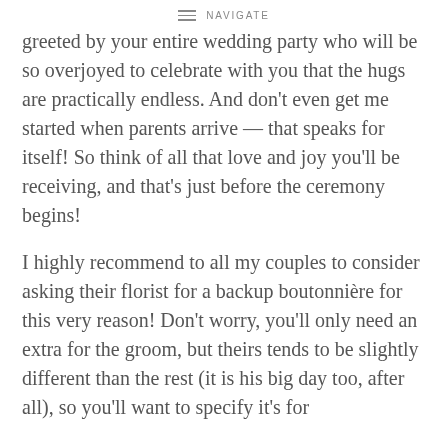NAVIGATE
greeted by your entire wedding party who will be so overjoyed to celebrate with you that the hugs are practically endless. And don't even get me started when parents arrive — that speaks for itself! So think of all that love and joy you'll be receiving, and that's just before the ceremony begins!
I highly recommend to all my couples to consider asking their florist for a backup boutonnière for this very reason! Don't worry, you'll only need an extra for the groom, but theirs tends to be slightly different than the rest (it is his big day too, after all), so you'll want to specify it's for